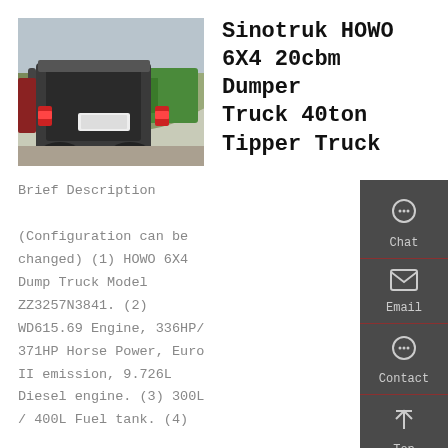[Figure (photo): Rear view of a Sinotruk HOWO dump truck (dark/black cab) parked outdoors with green trucks and hills in background]
Sinotruk HOWO 6X4 20cbm Dumper Truck 40ton Tipper Truck
Brief Description (Configuration can be changed) (1) HOWO 6X4 Dump Truck Model ZZ3257N3841. (2) WD615.69 Engine, 336HP/371HP Horse Power, Euro II emission, 9.726L Diesel engine. (3) 300L / 400L Fuel tank. (4)